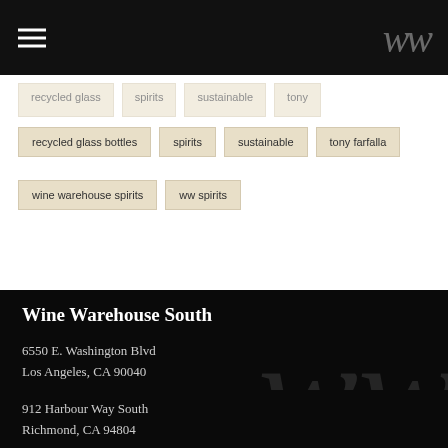[Figure (logo): Wine Warehouse logo with hamburger menu icon and stylized WW script logo on dark header]
recycled glass bottles
spirits
sustainable
tony farfalla
wine warehouse spirits
ww spirits
Wine Warehouse South
6550 E. Washington Blvd
Los Angeles, CA 90040
Wine Warehouse North
912 Harbour Way South
Richmond, CA 94804